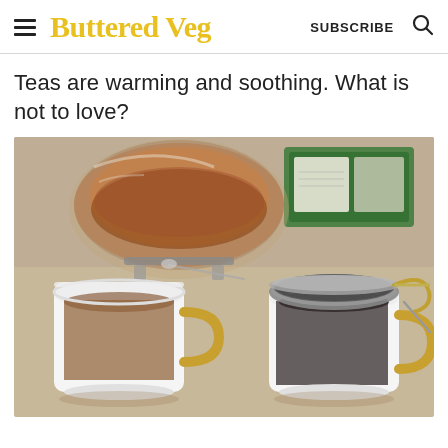Buttered Veg | SUBSCRIBE
Teas are warming and soothing. What is not to love?
[Figure (photo): Two white mugs with gold handles on a linen tablecloth. Left mug contains brewed tea. Right mug has a metal tea infuser strainer on top. Behind them is a glass teapot with tea and a green tea package in the background.]